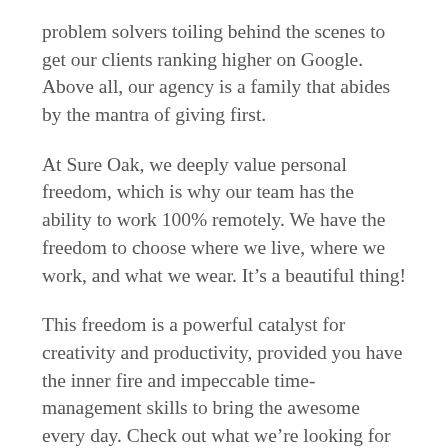problem solvers toiling behind the scenes to get our clients ranking higher on Google. Above all, our agency is a family that abides by the mantra of giving first.
At Sure Oak, we deeply value personal freedom, which is why our team has the ability to work 100% remotely. We have the freedom to choose where we live, where we work, and what we wear. It’s a beautiful thing!
This freedom is a powerful catalyst for creativity and productivity, provided you have the inner fire and impeccable time-management skills to bring the awesome every day. Check out what we’re looking for to see if you’re the right fit.